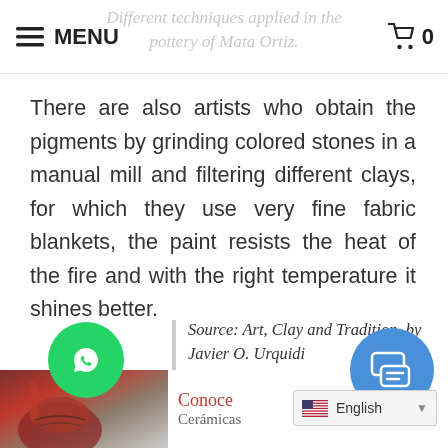MENU   0
Different techniques applied in the pottery of Mata Ortiz.
There are also artists who obtain the pigments by grinding colored stones in a manual mill and filtering different clays, for which they use very fine fabric blankets, the paint resists the heat of the fire and with the right temperature it shines better.
Source: Art, Clay and Tradition, by Javier O. Urquidi
[Figure (photo): Partial view of a ceramic pottery piece from Mata Ortiz at the bottom of the page]
Conoce
Cerámicas
[Figure (screenshot): Language selector showing English with US flag]